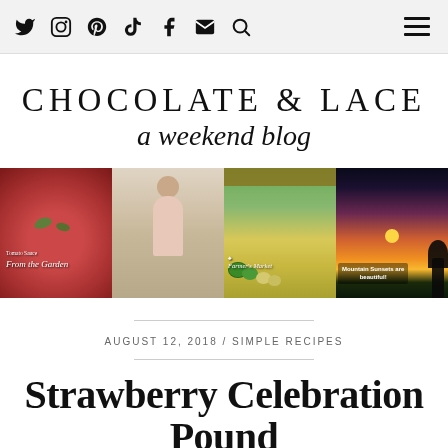Social icons: Twitter, Instagram, Pinterest, TikTok, Facebook, Email, Search | Hamburger menu
CHOCOLATE & LACE
a weekend blog
[Figure (photo): Four-panel photo strip: 1) Tomato sauce in a bowl with text 'Tomato Sauce From the Garden', 2) Woman in a pink dress, 3) Farmer's Market produce stand with watermelons and melons, 4) Mountain sunset with text 'Mountain Sunsets are beautiful!']
AUGUST 12, 2018 / SIMPLE RECIPES
Strawberry Celebration Pound